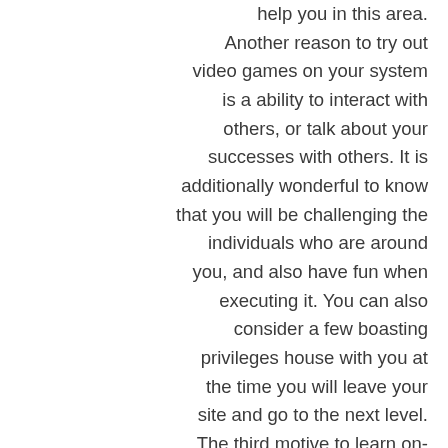help you in this area. Another reason to try out video games on your system is a ability to interact with others, or talk about your successes with others. It is additionally wonderful to know that you will be challenging the individuals who are around you, and also have fun when executing it. You can also consider a few boasting privileges house with you at the time you will leave your site and go to the next level. The third motive to learn on-